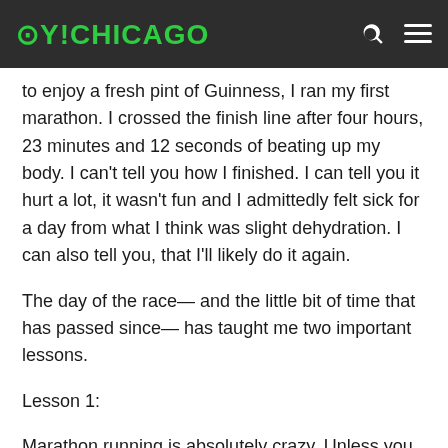OY!CHICAGO
to enjoy a fresh pint of Guinness, I ran my first marathon. I crossed the finish line after four hours, 23 minutes and 12 seconds of beating up my body. I can't tell you how I finished. I can tell you it hurt a lot, it wasn't fun and I admittedly felt sick for a day from what I think was slight dehydration. I can also tell you, that I'll likely do it again.
The day of the race— and the little bit of time that has passed since— has taught me two important lessons.
Lesson 1:
Marathon running is absolutely crazy. Unless you are